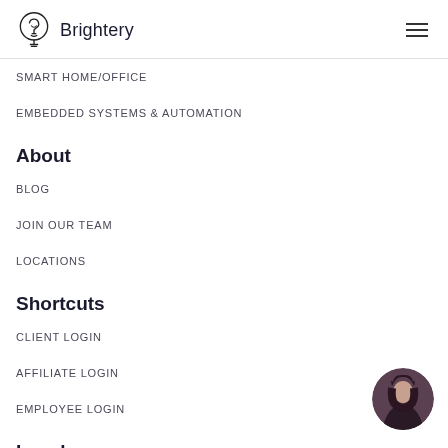Brightery
SMART HOME/OFFICE
EMBEDDED SYSTEMS & AUTOMATION
About
BLOG
JOIN OUR TEAM
LOCATIONS
Shortcuts
CLIENT LOGIN
AFFILIATE LOGIN
EMPLOYEE LOGIN
[Figure (photo): Circular avatar photo of a person with long dark hair, wearing a dark outfit]
Legal